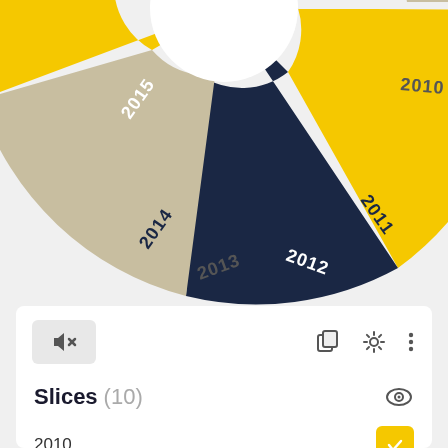[Figure (donut-chart): Donut chart (partially visible, top half cropped) showing year slices 2010-2015 in alternating navy, yellow, and tan/beige colors.]
Slices (10)
2010